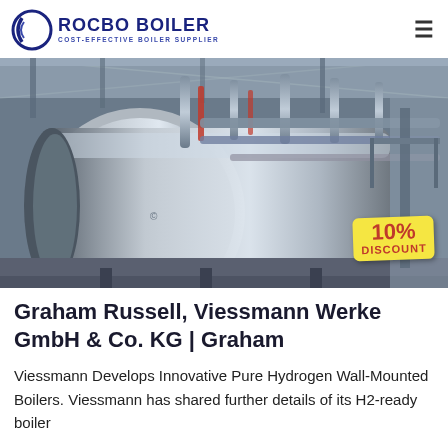ROCBO BOILER - COST-EFFECTIVE BOILER SUPPLIER
[Figure (photo): Industrial boiler room showing a large cylindrical steel boiler with pipework and structural metalwork in a factory setting, with a 10% DISCOUNT badge overlay in the bottom right corner.]
Graham Russell, Viessmann Werke GmbH & Co. KG | Graham
Viessmann Develops Innovative Pure Hydrogen Wall-Mounted Boilers. Viessmann has shared further details of its H2-ready boiler